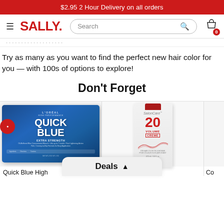$2.95 2 Hour Delivery on all orders
[Figure (screenshot): Sally Beauty navigation bar with hamburger menu, SALLY. logo, search bar, and cart icon with 0 badge]
Try as many as you want to find the perfect new hair color for you — with 100s of options to explore!
Don't Forget
[Figure (photo): L'Oreal Quick Blue High Performance powder lightener packet in blue packaging]
[Figure (photo): Salon Care 20 Volume Creme developer bottle in white with red cap and label]
Quick Blue High
Developer
Deals